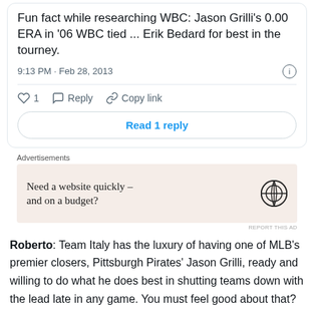Fun fact while researching WBC: Jason Grilli's 0.00 ERA in '06 WBC tied ... Erik Bedard for best in the tourney.
9:13 PM · Feb 28, 2013
1  Reply  Copy link
Read 1 reply
Advertisements
[Figure (other): WordPress advertisement: Need a website quickly – and on a budget?]
REPORT THIS AD
Roberto: Team Italy has the luxury of having one of MLB's premier closers, Pittsburgh Pirates' Jason Grilli, ready and willing to do what he does best in shutting teams down with the lead late in any game. You must feel good about that?